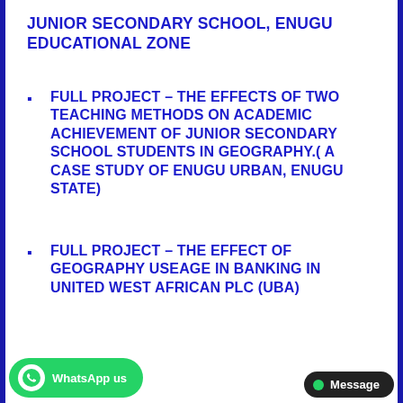JUNIOR SECONDARY SCHOOL, ENUGU EDUCATIONAL ZONE
FULL PROJECT – THE EFFECTS OF TWO TEACHING METHODS ON ACADEMIC ACHIEVEMENT OF JUNIOR SECONDARY SCHOOL STUDENTS IN GEOGRAPHY.( A CASE STUDY OF ENUGU URBAN, ENUGU STATE)
FULL PROJECT – THE EFFECT OF GEOGRAPHY USEAGE IN BANKING IN UNITED WEST AFRICAN PLC (UBA)